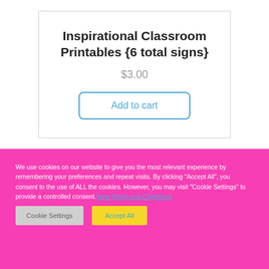Inspirational Classroom Printables {6 total signs}
$3.00
Add to cart
We use cookies on our website to give you the most relevant experience by remembering your preferences and repeat visits. By clicking “Accept All”, you consent to the use of ALL the cookies. However, you may visit "Cookie Settings" to provide a controlled consent. View Terms and Conditions
Cookie Settings
Accept All